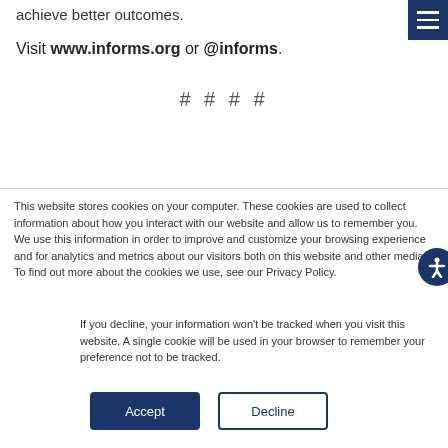achieve better outcomes.
Visit www.informs.org or @informs.
####
This website stores cookies on your computer. These cookies are used to collect information about how you interact with our website and allow us to remember you. We use this information in order to improve and customize your browsing experience and for analytics and metrics about our visitors both on this website and other media. To find out more about the cookies we use, see our Privacy Policy.
If you decline, your information won't be tracked when you visit this website. A single cookie will be used in your browser to remember your preference not to be tracked.
Accept
Decline